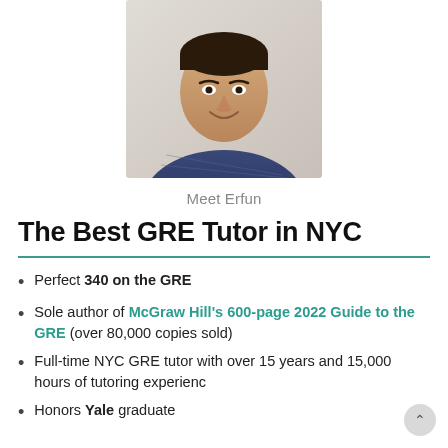[Figure (photo): Headshot of a smiling young man wearing a blue checkered shirt, photographed indoors]
Meet Erfun
The Best GRE Tutor in NYC
Perfect 340 on the GRE
Sole author of McGraw Hill's 600-page 2022 Guide to the GRE (over 80,000 copies sold)
Full-time NYC GRE tutor with over 15 years and 15,000 hours of tutoring experience
Honors Yale graduate